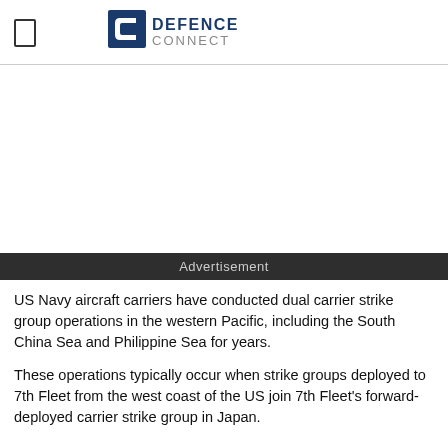Defence Connect
[Figure (other): Advertisement / white space placeholder area]
Advertisement
US Navy aircraft carriers have conducted dual carrier strike group operations in the western Pacific, including the South China Sea and Philippine Sea for years.
These operations typically occur when strike groups deployed to 7th Fleet from the west coast of the US join 7th Fleet's forward-deployed carrier strike group in Japan.